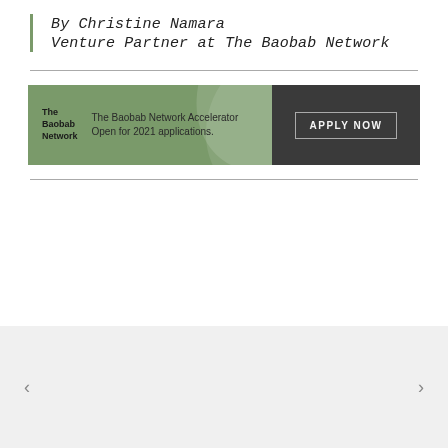By Christine Namara
Venture Partner at The Baobab Network
[Figure (other): The Baobab Network Accelerator banner advertisement with green background, logo on left reading 'The Baobab Network', tagline 'The Baobab Network Accelerator Open for 2021 applications.', and dark right panel with 'APPLY NOW' button]